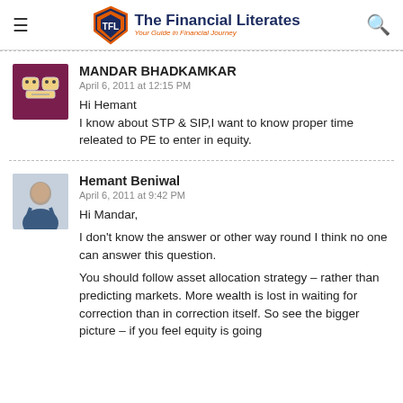The Financial Literates — Your Guide in Financial Journey
MANDAR BHADKAMKAR
April 6, 2011 at 12:15 PM
Hi Hemant
I know about STP & SIP,I want to know proper time releated to PE to enter in equity.
Hemant Beniwal
April 6, 2011 at 9:42 PM
Hi Mandar,

I don't know the answer or other way round I think no one can answer this question.

You should follow asset allocation strategy – rather than predicting markets. More wealth is lost in waiting for correction than in correction itself. So see the bigger picture – if you feel equity is going